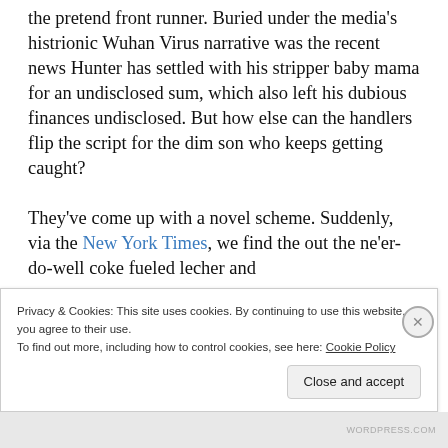the pretend front runner. Buried under the media's histrionic Wuhan Virus narrative was the recent news Hunter has settled with his stripper baby mama for an undisclosed sum, which also left his dubious finances undisclosed. But how else can the handlers flip the script for the dim son who keeps getting caught?

They've come up with a novel scheme. Suddenly, via the New York Times, we find the out the ne'er-do-well coke fueled lecher and
Privacy & Cookies: This site uses cookies. By continuing to use this website, you agree to their use.
To find out more, including how to control cookies, see here: Cookie Policy
Close and accept
WORDPRESS.COM